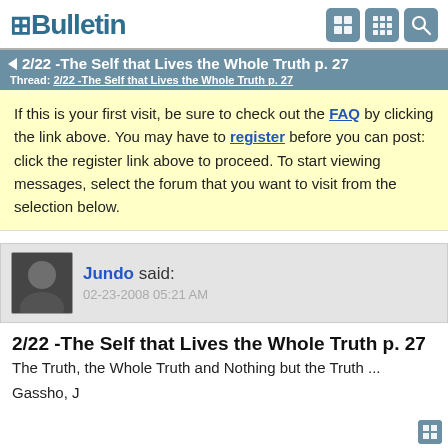vBulletin
2/22 -The Self that Lives the Whole Truth p. 27
Thread: 2/22 -The Self that Lives the Whole Truth p. 27
If this is your first visit, be sure to check out the FAQ by clicking the link above. You may have to register before you can post: click the register link above to proceed. To start viewing messages, select the forum that you want to visit from the selection below.
Jundo said:
02-23-2008 05:21 AM
2/22 -The Self that Lives the Whole Truth p. 27
The Truth, the Whole Truth and Nothing but the Truth ...
Gassho, J